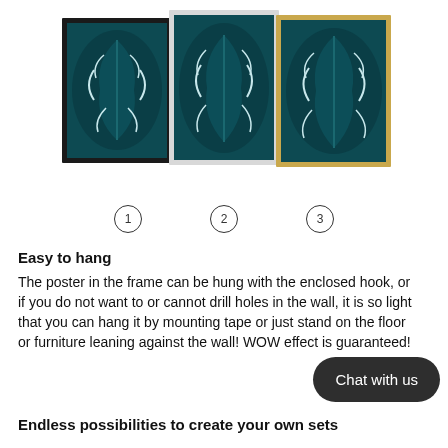[Figure (photo): Three framed posters showing tropical monstera leaf photography, displayed side by side with black, white, and gold frames]
① ② ③
Easy to hang
The poster in the frame can be hung with the enclosed hook, or if you do not want to or cannot drill holes in the wall, it is so light that you can hang it by mounting tape or just stand on the floor or furniture leaning against the wall! WOW effect is guaranteed!
Endless possibilities to create your own sets
Chat with us